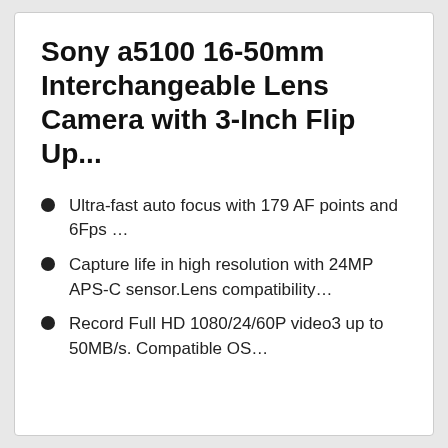Sony a5100 16-50mm Interchangeable Lens Camera with 3-Inch Flip Up...
Ultra-fast auto focus with 179 AF points and 6Fps …
Capture life in high resolution with 24MP APS-C sensor.Lens compatibility…
Record Full HD 1080/24/60P video3 up to 50MB/s. Compatible OS…